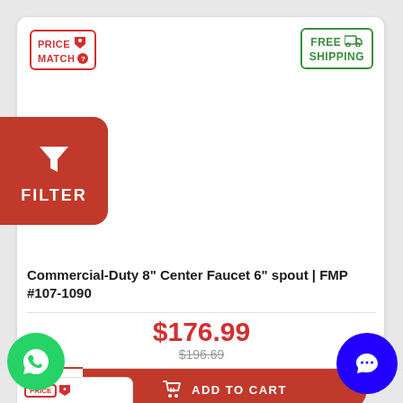[Figure (screenshot): E-commerce product listing page showing a Commercial-Duty 8" Center Faucet with price match badge, free shipping badge, filter button, product image area, product title, price, and add to cart button.]
PRICE MATCH
FREE SHIPPING
FILTER
Commercial-Duty 8" Center Faucet 6" spout | FMP #107-1090
$176.99
$196.69
ADD TO CART